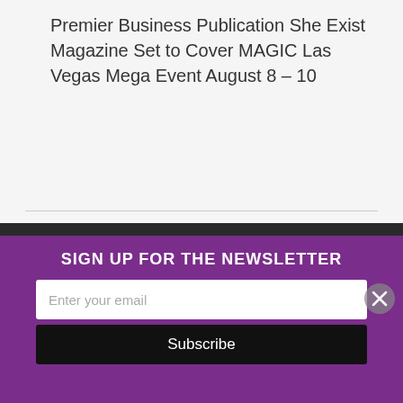Premier Business Publication She Exist Magazine Set to Cover MAGIC Las Vegas Mega Event August 8 – 10
[Figure (illustration): Cartoon illustration with text 'READY FOR SOME WILDTALK?' at the top on a blue background. A large wooden circle with red letters 'THE ZOO' decorated with yellow dots. A brick wall with a basketball hoop on the left side.]
SIGN UP FOR THE NEWSLETTER
Enter your email
Subscribe